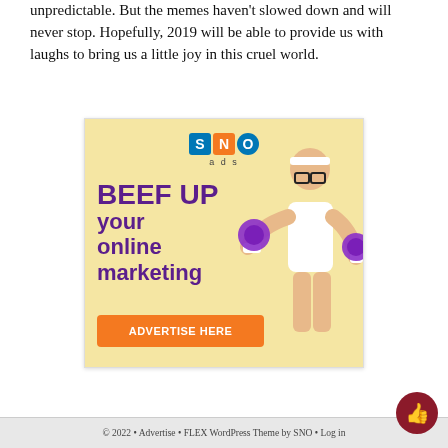unpredictable. But the memes haven't slowed down and will never stop. Hopefully, 2019 will be able to provide us with laughs to bring us a little joy in this cruel world.
[Figure (illustration): SNO ads advertisement banner with yellow background showing 'BEEF UP your online marketing' text in purple, a person lifting purple dumbbells, and an orange 'ADVERTISE HERE' button.]
© 2022 • Advertise • FLEX WordPress Theme by SNO • Log in